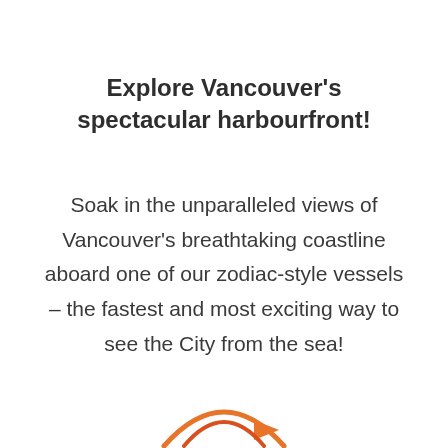Explore Vancouver's spectacular harbourfront!
Soak in the unparalleled views of Vancouver's breathtaking coastline aboard one of our zodiac-style vessels – the fastest and most exciting way to see the City from the sea!
[Figure (logo): Partial logo graphic — orange and red arc/arrow shapes at bottom center of page]